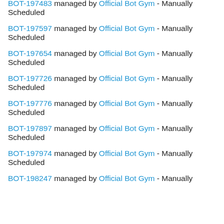BOT-197483 managed by Official Bot Gym - Manually Scheduled
BOT-197597 managed by Official Bot Gym - Manually Scheduled
BOT-197654 managed by Official Bot Gym - Manually Scheduled
BOT-197726 managed by Official Bot Gym - Manually Scheduled
BOT-197776 managed by Official Bot Gym - Manually Scheduled
BOT-197897 managed by Official Bot Gym - Manually Scheduled
BOT-197974 managed by Official Bot Gym - Manually Scheduled
BOT-198247 managed by Official Bot Gym - Manually